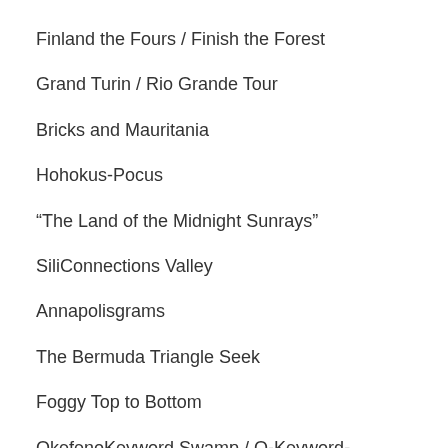Finland the Fours / Finish the Forest
Grand Turin / Rio Grande Tour
Bricks and Mauritania
Hohokus-Pocus
“The Land of the Midnight Sunrays”
SiliConnections Valley
Annapolisgrams
The Bermuda Triangle Seek
Foggy Top to Bottom
OkefenoKeyword Swamp / O-Keyword-Fenokee Swamp